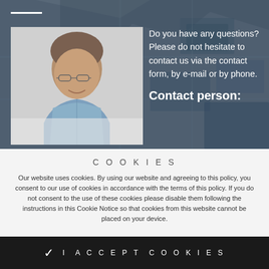[Figure (photo): Portrait photo of a middle-aged man with glasses and short hair, wearing a plaid shirt, on a white background. Behind is a dark aerial map city background.]
Do you have any questions? Please do not hesitate to contact us via the contact form, by e-mail or by phone.
Contact person:
COOKIES
Our website uses cookies. By using our website and agreeing to this policy, you consent to our use of cookies in accordance with the terms of this policy. If you do not consent to the use of these cookies please disable them following the instructions in this Cookie Notice so that cookies from this website cannot be placed on your device.
I ACCEPT COOKIES